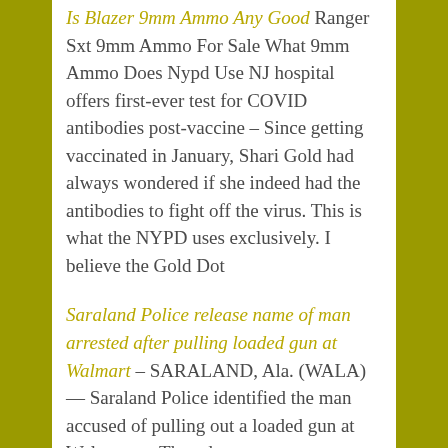Is Blazer 9mm Ammo Any Good Ranger Sxt 9mm Ammo For Sale What 9mm Ammo Does Nypd Use NJ hospital offers first-ever test for COVID antibodies post-vaccine – Since getting vaccinated in January, Shari Gold had always wondered if she indeed had the antibodies to fight off the virus. This is what the NYPD uses exclusively. I believe the Gold Dot
Saraland Police release name of man arrested after pulling loaded gun at Walmart – SARALAND, Ala. (WALA) — Saraland Police identified the man accused of pulling out a loaded gun at Walmart on Thursday.
Where did they get the guns? A comprehensive look at Colorado's history of public gun violence. – He also purchased $2,700 in ammunition and